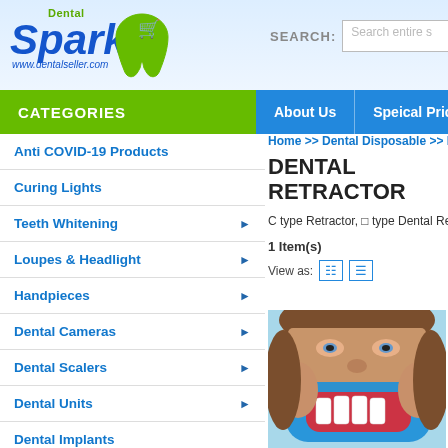[Figure (logo): Dental Spark logo with green tooth shape, shopping cart icon, and blue italic text. URL: www.dentalseller.com]
SEARCH:  Search entire s
CATEGORIES | About Us | Speical Price Daily
Anti COVID-19 Products
Curing Lights
Teeth Whitening ▶
Loupes & Headlight ▶
Handpieces ▶
Dental Cameras ▶
Dental Scalers ▶
Dental Units ▶
Dental Implants
Dental Disposable ▶
Home >> Dental Disposable >> De
DENTAL RETRACTOR
C type Retractor, □ type Dental Retracto
1 Item(s)
View as:
[Figure (photo): Photo of a woman with a blue dental retractor in her mouth, showing her teeth against a light blue background]